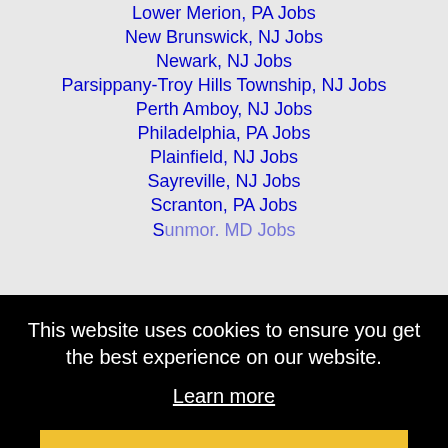Lower Merion, PA Jobs
New Brunswick, NJ Jobs
Newark, NJ Jobs
Parsippany-Troy Hills Township, NJ Jobs
Perth Amboy, NJ Jobs
Philadelphia, PA Jobs
Plainfield, NJ Jobs
Sayreville, NJ Jobs
Scranton, PA Jobs
This website uses cookies to ensure you get the best experience on our website.
Learn more
Got it!
Wilmington, DE Jobs